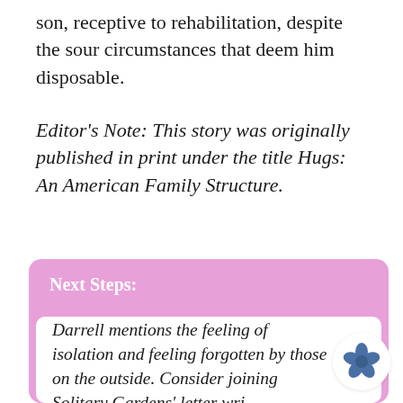son, receptive to rehabilitation, despite the sour circumstances that deem him disposable.
Editor's Note: This story was originally published in print under the title Hugs: An American Family Structure.
Next Steps:
Darrell mentions the feeling of isolation and feeling forgotten by those on the outside. Consider joining Solitary Gardens' letter writing program to write to one of their solitary gardeners.